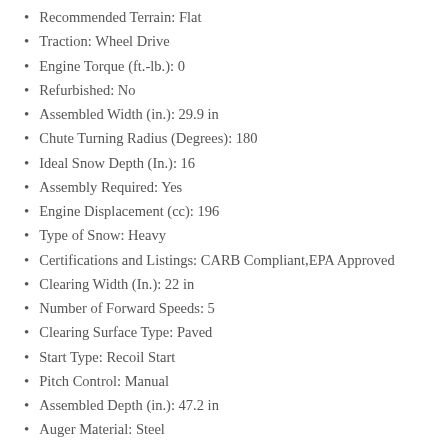Recommended Terrain: Flat
Traction: Wheel Drive
Engine Torque (ft.-lb.): 0
Refurbished: No
Assembled Width (in.): 29.9 in
Chute Turning Radius (Degrees): 180
Ideal Snow Depth (In.): 16
Assembly Required: Yes
Engine Displacement (cc): 196
Type of Snow: Heavy
Certifications and Listings: CARB Compliant,EPA Approved
Clearing Width (In.): 22 in
Number of Forward Speeds: 5
Clearing Surface Type: Paved
Start Type: Recoil Start
Pitch Control: Manual
Assembled Depth (in.): 47.2 in
Auger Material: Steel
Auger Diameter (in.): 9.5
Body Material: Metal
Number of Reverse Speeds: 2
Chute Material: Steel